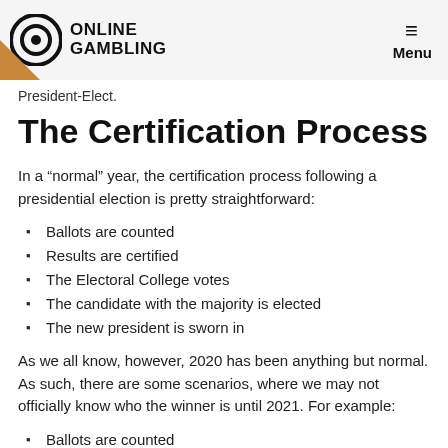Online Gambling | Menu
President-Elect.
The Certification Process
In a “normal” year, the certification process following a presidential election is pretty straightforward:
Ballots are counted
Results are certified
The Electoral College votes
The candidate with the majority is elected
The new president is sworn in
As we all know, however, 2020 has been anything but normal. As such, there are some scenarios, where we may not officially know who the winner is until 2021. For example:
Ballots are counted